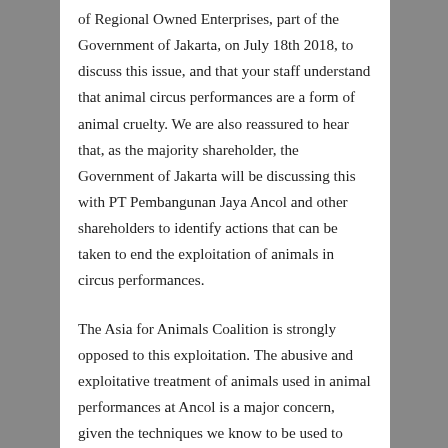of Regional Owned Enterprises, part of the Government of Jakarta, on July 18th 2018, to discuss this issue, and that your staff understand that animal circus performances are a form of animal cruelty. We are also reassured to hear that, as the majority shareholder, the Government of Jakarta will be discussing this with PT Pembangunan Jaya Ancol and other shareholders to identify actions that can be taken to end the exploitation of animals in circus performances.
The Asia for Animals Coalition is strongly opposed to this exploitation. The abusive and exploitative treatment of animals used in animal performances at Ancol is a major concern, given the techniques we know to be used to control the animals during training and performances, and the poor living